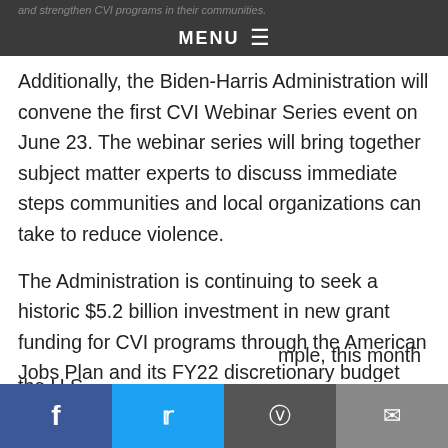and strengthen CVI programs in their communities.
MENU
Additionally, the Biden-Harris Administration will convene the first CVI Webinar Series event on June 23. The webinar series will bring together subject matter experts to discuss immediate steps communities and local organizations can take to reduce violence.
The Administration is continuing to seek a historic $5.2 billion investment in new grant funding for CVI programs through the American Jobs Plan and its FY22 discretionary budget request. The Administration is also executing on its announced changes to 26 programs across five agencies to make federal dollars and technical assistance available to CVI practitioners in
mple, this month the U.S. Urban Development (HUD)